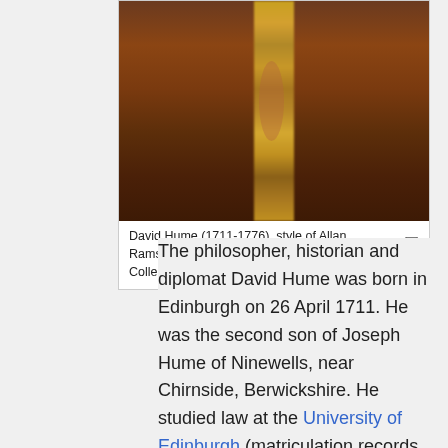[Figure (photo): Portrait painting of David Hume, dark background with decorated clothing detail visible, style of Allan Ramsay, 1758]
David Hume (1711-1776), style of Allan Ramsay, 1758, University of Edinburgh Fine Art Collection (EU0067)
The philosopher, historian and diplomat David Hume was born in Edinburgh on 26 April 1711. He was the second son of Joseph Hume of Ninewells, near Chirnside, Berwickshire. He studied law at the University of Edinburgh (matriculation records showing 27 February 1723) but spent more time on reading Virgil, Cicero and other Latin literature than on his intended studies. He abandoned law and followed a brief